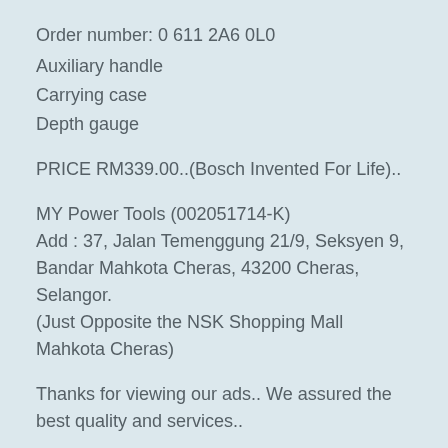Order number: 0 611 2A6 0L0
Auxiliary handle
Carrying case
Depth gauge
PRICE RM339.00..(Bosch Invented For Life)..
MY Power Tools (002051714-K)
Add : 37, Jalan Temenggung 21/9, Seksyen 9, Bandar Mahkota Cheras, 43200 Cheras, Selangor.
(Just Opposite the NSK Shopping Mall Mahkota Cheras)
Thanks for viewing our ads.. We assured the best quality and services..
Customer comments